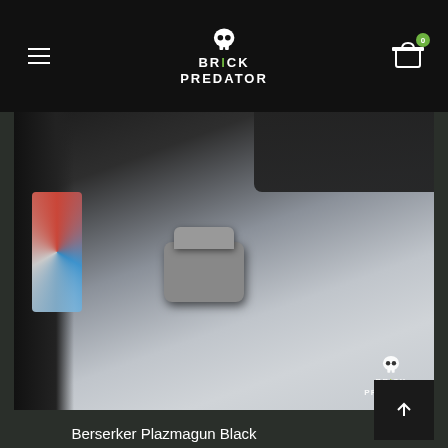Brick Predator
[Figure (photo): Close-up photo of a LEGO Berserker Plazmagun Black toy piece on a blurred grey background, with Brick Predator watermark logo in bottom right corner]
Berserker Plazmagun Black
$20.00